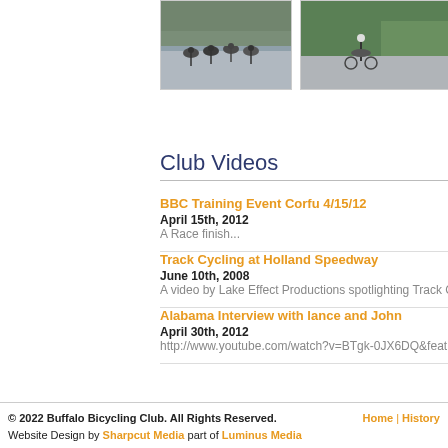[Figure (photo): Cyclists racing on a road, group of riders]
[Figure (photo): Cyclist riding on a road with greenery in background]
Club Videos
BBC Training Event Corfu 4/15/12
April 15th, 2012
A Race finish...
Track Cycling at Holland Speedway
June 10th, 2008
A video by Lake Effect Productions spotlighting Track Cycli…
Alabama Interview with lance and John
April 30th, 2012
http://www.youtube.com/watch?v=BTgk-0JX6DQ&feature=y…
© 2022 Buffalo Bicycling Club. All Rights Reserved. Website Design by Sharpcut Media part of Luminus Media | Home | History